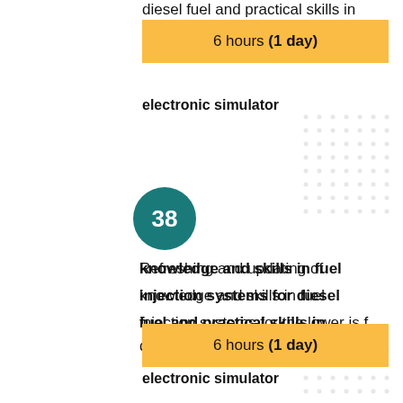diesel fuel and practical skills in
6 hours (1 day)
electronic simulator
[Figure (infographic): Circle badge with number 38 in teal/dark cyan color]
Refreshing and updating of knowledge and skills in fuel injection systems for diesel fuel and practical skills in
6 hours (1 day)
electronic simulator